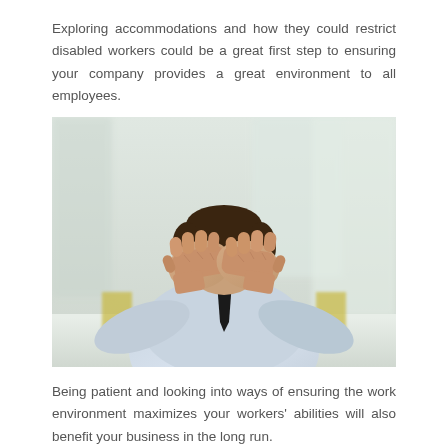Exploring accommodations and how they could restrict disabled workers could be a great first step to ensuring your company provides a great environment to all employees.
[Figure (photo): A man in a light blue dress shirt and black tie sitting at a table with his head in his hands, appearing stressed or distressed. The background is a blurred office/room environment.]
Being patient and looking into ways of ensuring the work environment maximizes your workers' abilities will also benefit your business in the long run.